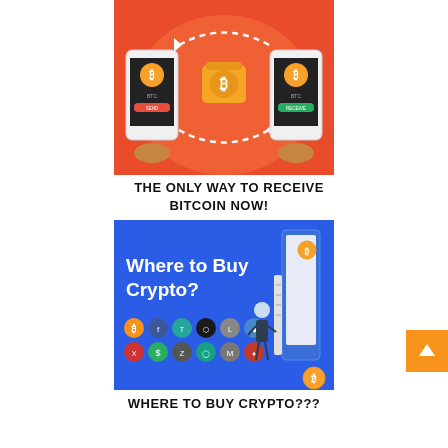[Figure (illustration): Illustration on orange/red background showing two hands holding smartphones labeled BTC (one with SEND button, one with RECEIVE button) with a gold Bitcoin wallet in the center and dashed curved arrows indicating transfer]
THE ONLY WAY TO RECEIVE BITCOIN NOW!
[Figure (illustration): Blue promotional banner reading 'Where to Buy Crypto?' with cryptocurrency coin icons in two rows, and an isometric illustration of a figure next to a large digital screen/kiosk with a gold Bitcoin coin]
WHERE TO BUY CRYPTO???